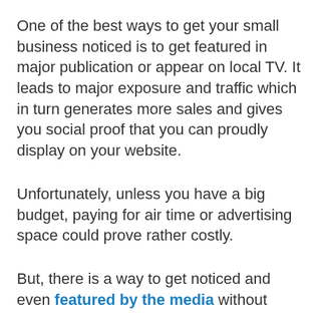One of the best ways to get your small business noticed is to get featured in major publication or appear on local TV. It leads to major exposure and traffic which in turn generates more sales and gives you social proof that you can proudly display on your website.
Unfortunately, unless you have a big budget, paying for air time or advertising space could prove rather costly.
But, there is a way to get noticed and even featured by the media without blowing through your budget. In fact, it will only take